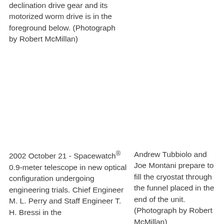declination drive gear and its motorized worm drive is in the foreground below. (Photograph by Robert McMillan)
2002 October 21 - Spacewatch® 0.9-meter telescope in new optical configuration undergoing engineering trials. Chief Engineer M. L. Perry and Staff Engineer T. H. Bressi in the
Andrew Tubbiolo and Joe Montani prepare to fill the cryostat through the funnel placed in the end of the unit. (Photograph by Robert McMillan)